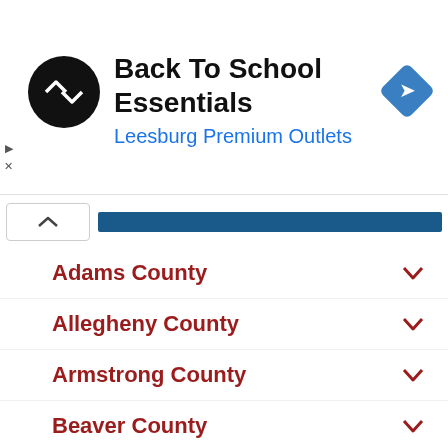[Figure (logo): Ad banner: Back To School Essentials at Leesburg Premium Outlets with circular logo and navigation icon]
Adams County
Allegheny County
Armstrong County
Beaver County
Bedford County
Berks County
Blair County
Bradford County
Bucks County